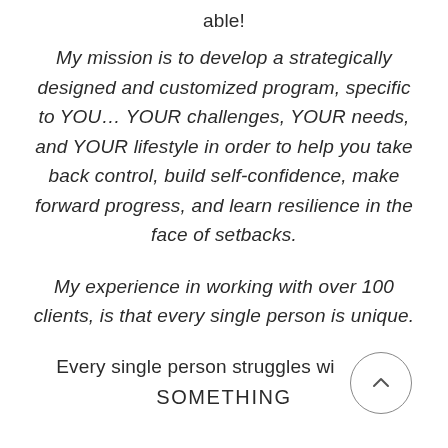able!

My mission is to develop a strategically designed and customized program, specific to YOU… YOUR challenges, YOUR needs, and YOUR lifestyle in order to help you take back control, build self-confidence, make forward progress, and learn resilience in the face of setbacks.

My experience in working with over 100 clients, is that every single person is unique.

Every single person struggles wi… SOMETHING